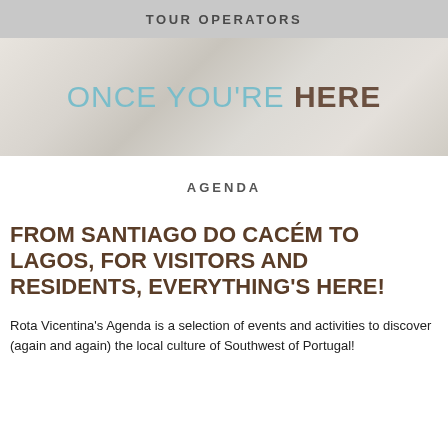TOUR OPERATORS
ONCE YOU'RE HERE
AGENDA
FROM SANTIAGO DO CACÉM TO LAGOS, FOR VISITORS AND RESIDENTS, EVERYTHING'S HERE!
Rota Vicentina's Agenda is a selection of events and activities to discover (again and again) the local culture of Southwest of Portugal!